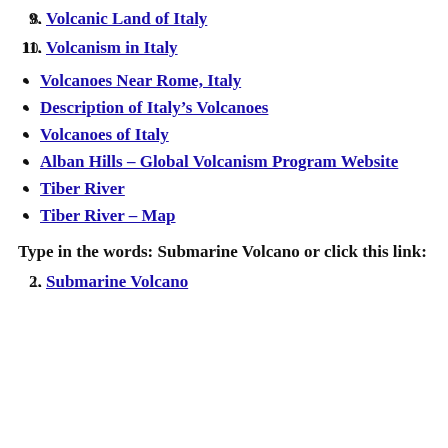8. Volcanic Land of Italy
9. Volcanism in Italy
Volcanoes Near Rome, Italy
Description of Italy's Volcanoes
Volcanoes of Italy
Alban Hills – Global Volcanism Program Website
Tiber River
Tiber River – Map
Type in the words: Submarine Volcano or click this link:
1. Submarine Volcano